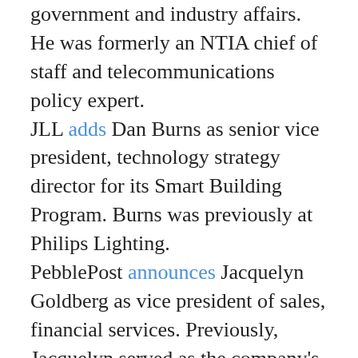government and industry affairs. He was formerly an NTIA chief of staff and telecommunications policy expert. JLL adds Dan Burns as senior vice president, technology strategy director for its Smart Building Program. Burns was previously at Philips Lighting. PebblePost announces Jacquelyn Goldberg as vice president of sales, financial services. Previously, Jacquelyn served as the company's first director of sales. Zeotap announces that Anne MacDonald, former CMO at Travelers, Macy's and Citigroup, has joined its global advisory board. Rob Norman, formerly chief digital officer of GroupM, also joined. Have news and announcements for inclusion in the weekly...